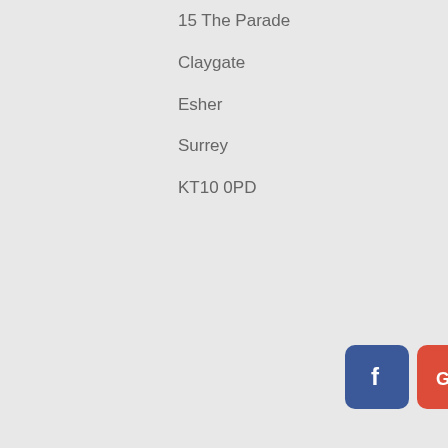15 The Parade
Claygate
Esher
Surrey
KT10 0PD
[Figure (other): Row of four social media icon buttons: Facebook (blue), Google+ (red-orange), Instagram (pink-red), LinkedIn (blue)]
We use cookies on our website to give you the most relevant experience by remembering your preferences and repeat visits. By clicking “Accept”, you consent to the use of ALL the cookies.
Cookie settings   ACCEPT
catling
eg Number: